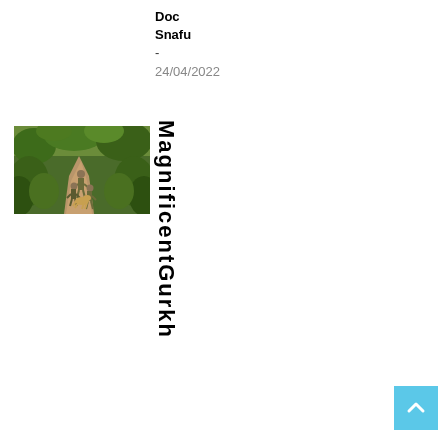Doc Snafu - 24/04/2022
[Figure (photo): Soldiers walking along a jungle path, military personnel in camouflage in dense green vegetation]
Magnificent Gurkh